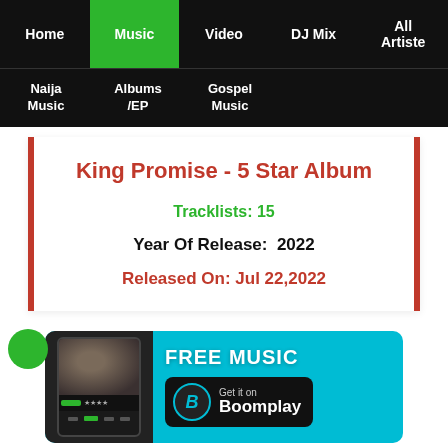Home | Music | Video | DJ Mix | All Artiste | Naija Music | Albums /EP | Gospel Music
King Promise - 5 Star Album
Tracklists: 15
Year Of Release: 2022
Released On: Jul 22,2022
[Figure (screenshot): Boomplay music app advertisement banner with a phone screenshot showing Burna Boy, FREE MUSIC text, and Get it on Boomplay button]
Song of the D...